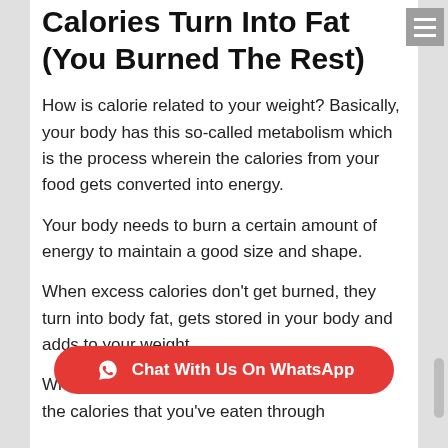Calories Turn Into Fat (You Burned The Rest)
How is calorie related to your weight? Basically, your body has this so-called metabolism which is the process wherein the calories from your food gets converted into energy.
Your body needs to burn a certain amount of energy to maintain a good size and shape.
When excess calories don't get burned, they turn into body fat, gets stored in your body and adds to your weight.
What yo... the calories that you've eaten through